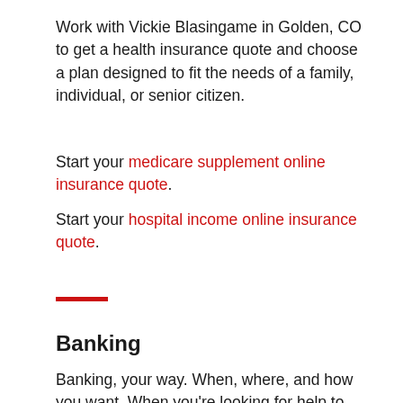Work with Vickie Blasingame in Golden, CO to get a health insurance quote and choose a plan designed to fit the needs of a family, individual, or senior citizen.
Start your medicare supplement online insurance quote.
Start your hospital income online insurance quote.
[Figure (other): Red horizontal rule decorative divider]
Banking
Banking, your way. When, where, and how you want. When you're looking for help to achieve your financial goals, we want to be your first and best choice in Golden, CO. Thanks to an alliance between U.S. Bank® and State Farm®, now, you'll be able to apply for U.S. Bank Checking, Savings, CDs, Retirement CDs and Credit Cards, directly through your local State Farm...